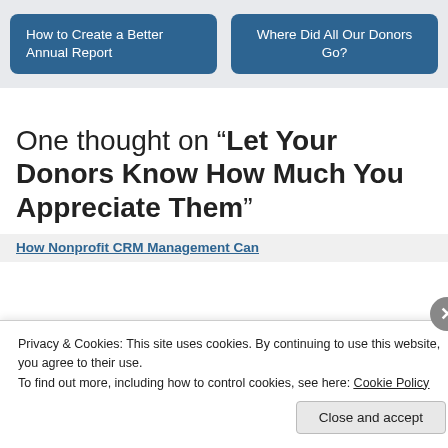[Figure (screenshot): Navigation bar with two blue buttons: 'How to Create a Better Annual Report' and 'Where Did All Our Donors Go?']
One thought on “Let Your Donors Know How Much You Appreciate Them”
How Nonprofit CRM Management Can
Privacy & Cookies: This site uses cookies. By continuing to use this website, you agree to their use.
To find out more, including how to control cookies, see here: Cookie Policy
Close and accept